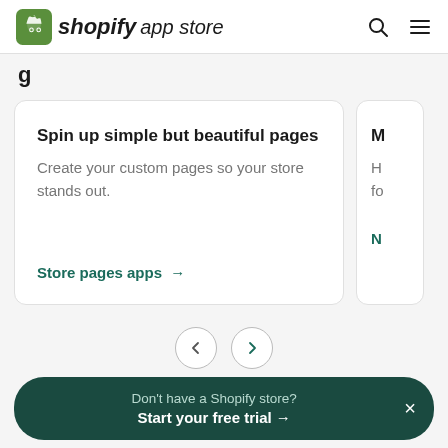[Figure (logo): Shopify App Store logo with green shopping bag icon and text 'shopify app store']
g
Spin up simple but beautiful pages
Create your custom pages so your store stands out.
Store pages apps →
M
H fo
N
< >
Don't have a Shopify store? Start your free trial →